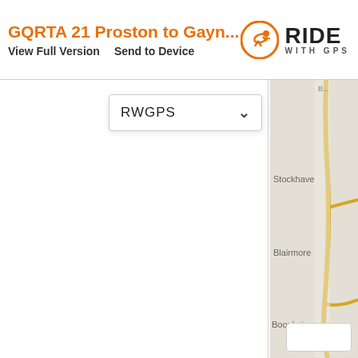GQRTA 21 Proston to Gayn... | View Full Version | Send to Device
[Figure (screenshot): Ride with GPS logo: orange cyclist icon, RIDE in bold black, WITH GPS below in spaced letters]
[Figure (map): Partial map showing road/route. Place names visible: Stockhaven, Blairmore, Booubyjam. Yellow road lines on light beige/grey background.]
RWGPS
[Figure (screenshot): White dropdown box with 'RWGPS' label and chevron down arrow]